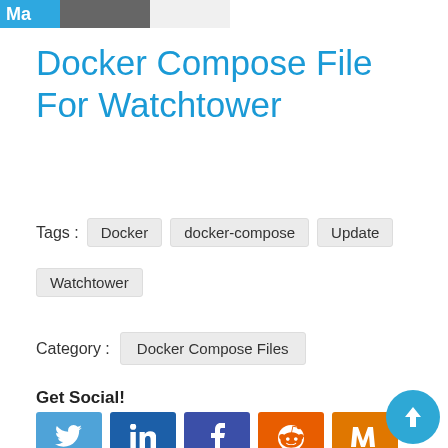Ma
Docker Compose File For Watchtower
Tags :  Docker  docker-compose  Update  Watchtower
Category :  Docker Compose Files
Get Social!
[Figure (infographic): Social share buttons: Twitter (blue), LinkedIn (dark blue), Facebook (dark blue), Reddit (orange), Mix (orange)]
Watchtower is a docker container that will update the version of other running containers. You can change the environment settings as required for your